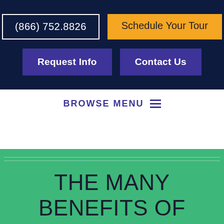(866) 752.8826
Schedule Your Tour
Request Info
Contact Us
BROWSE MENU
THE MANY BENEFITS OF PLATT COLLEGE SAN DIEGO